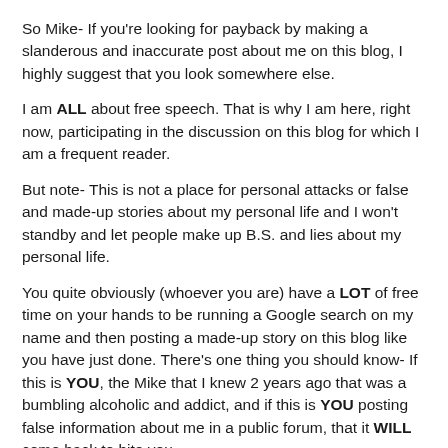So Mike- If you're looking for payback by making a slanderous and inaccurate post about me on this blog, I highly suggest that you look somewhere else.
I am ALL about free speech. That is why I am here, right now, participating in the discussion on this blog for which I am a frequent reader.
But note- This is not a place for personal attacks or false and made-up stories about my personal life and I won't standby and let people make up B.S. and lies about my personal life.
You quite obviously (whoever you are) have a LOT of free time on your hands to be running a Google search on my name and then posting a made-up story on this blog like you have just done. There's one thing you should know- If this is YOU, the Mike that I knew 2 years ago that was a bumbling alcoholic and addict, and if this is YOU posting false information about me in a public forum, that it WILL come back to bite you.
I am all about posting opinions and facts, and believe in the 1st Amendment and Freedom of speech, but your comment is that of a Troll and you are ridiculous. I suggest that you get a life.